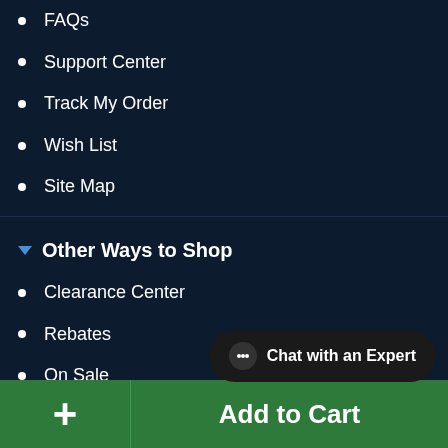FAQs
Support Center
Track My Order
Wish List
Site Map
Other Ways to Shop
Clearance Center
Rebates
On Sale
Open Box
About Us
Our History
Chat with an Expert
Add to Cart